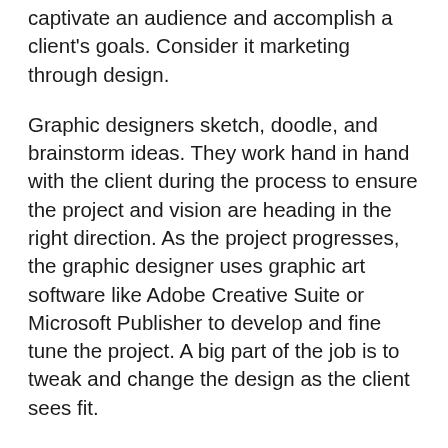captivate an audience and accomplish a client's goals. Consider it marketing through design.
Graphic designers sketch, doodle, and brainstorm ideas. They work hand in hand with the client during the process to ensure the project and vision are heading in the right direction. As the project progresses, the graphic designer uses graphic art software like Adobe Creative Suite or Microsoft Publisher to develop and fine tune the project. A big part of the job is to tweak and change the design as the client sees fit.
To be a successful graphic designer, you need a solid grasp of design fundamentals like color science, font selection, logo evolution, white space, layout design, sizing, dimensions, file types, printing, and so much more. The only way to grasp these concepts is to study design.